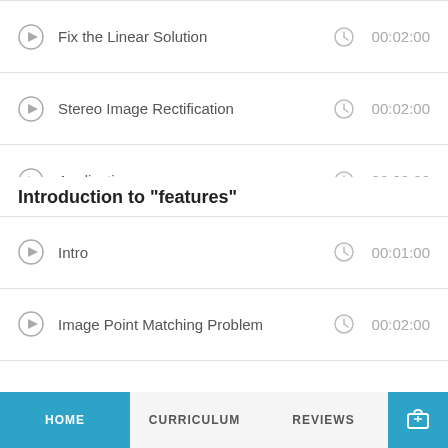Fix the Linear Solution  00:02:00
Stereo Image Rectification  00:02:00
Applications  00:02:00
End  00:01:00
Introduction to "features"
Intro  00:01:00
Image Point Matching Problem  00:02:00
HOME  CURRICULUM  REVIEWS